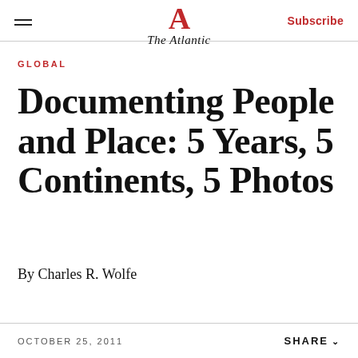The Atlantic | Subscribe
GLOBAL
Documenting People and Place: 5 Years, 5 Continents, 5 Photos
By Charles R. Wolfe
OCTOBER 25, 2011 | SHARE